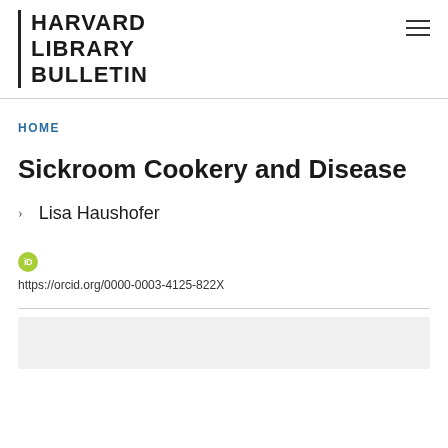HARVARD LIBRARY BULLETIN
HOME
Sickroom Cookery and Disease
Lisa Haushofer
https://orcid.org/0000-0003-4125-822X